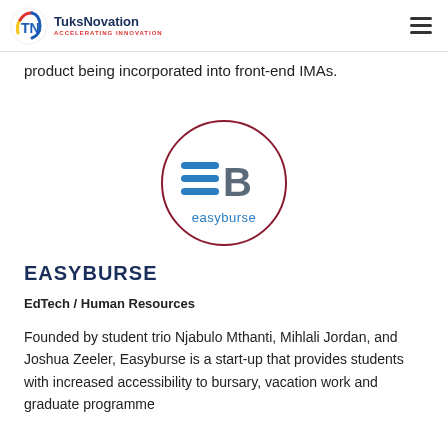TuksNovation ACCELERATING INNOVATION
product being incorporated into front-end IMAs.
[Figure (logo): Easyburse logo: circular border with '=B' icon and 'easyburse' text in blue, circle outlined in dark red/maroon]
EASYBURSE
EdTech / Human Resources
Founded by student trio Njabulo Mthanti, Mihlali Jordan, and Joshua Zeeler, Easyburse is a start-up that provides students with increased accessibility to bursary, vacation work and graduate programme